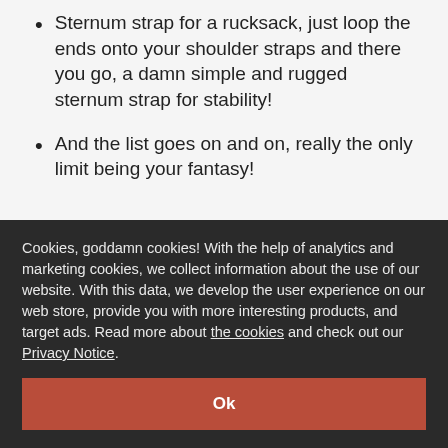Sternum strap for a rucksack, just loop the ends onto your shoulder straps and there you go, a damn simple and rugged sternum strap for stability!
And the list goes on and on, really the only limit being your fantasy!
FINNISH MILSPEC MATERIALS
Cookies, goddamn cookies! With the help of analytics and marketing cookies, we collect information about the use of our website. With this data, we develop the user experience on our web store, provide you with more interesting products, and target ads. Read more about the cookies and check out our Privacy Notice.
Ok